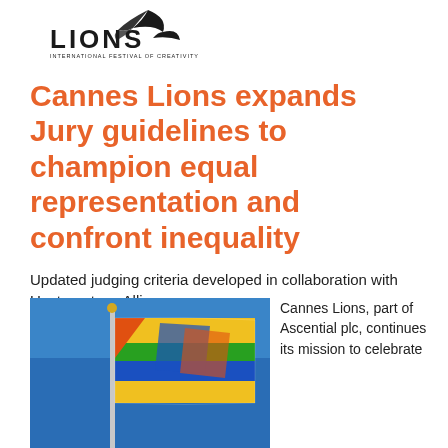[Figure (logo): Cannes Lions International Festival of Creativity logo — text LIONS with stylized wing graphic above, small text INTERNATIONAL FESTIVAL OF CREATIVITY below]
Cannes Lions expands Jury guidelines to champion equal representation and confront inequality
Updated judging criteria developed in collaboration with Unstereotype Alliance
[Figure (photo): Photograph of a colourful flag (yellow, green, blue, red, orange stripes with map shape) on a flagpole against a blue sky]
Cannes Lions, part of Ascential plc, continues its mission to celebrate